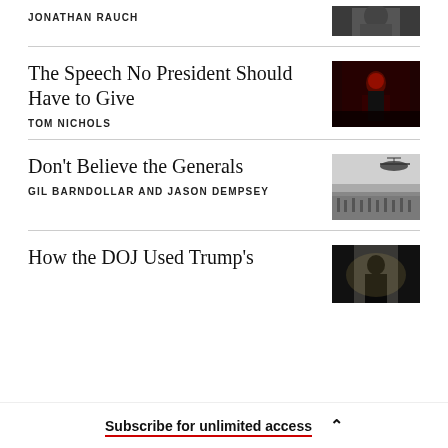JONATHAN RAUCH
[Figure (photo): Partial photo, dark/black and white portrait, cropped at top]
The Speech No President Should Have to Give
TOM NICHOLS
[Figure (photo): Photo of a person at a podium on a dark red-lit stage]
Don't Believe the Generals
GIL BARNDOLLAR AND JASON DEMPSEY
[Figure (photo): Black and white photo of a military helicopter over troops on the ground]
How the DOJ Used Trump's
[Figure (photo): Dark photo of a silhouetted figure from behind against bright light]
Subscribe for unlimited access